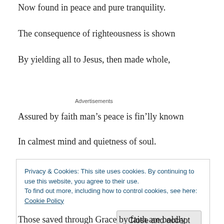Now found in peace and pure tranquility.
The consequence of righteousness is shown
By yielding all to Jesus, then made whole,
Advertisements
Assured by faith man's peace is fin'lly known
In calmest mind and quietness of soul.
Privacy & Cookies: This site uses cookies. By continuing to use this website, you agree to their use. To find out more, including how to control cookies, see here: Cookie Policy
Those saved through Grace by faith are boldly crossed